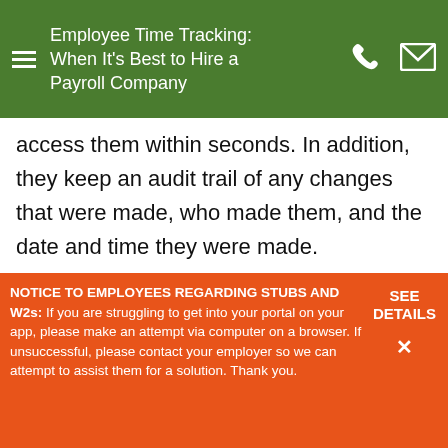Employee Time Tracking: When It's Best to Hire a Payroll Company
access them within seconds. In addition, they keep an audit trail of any changes that were made, who made them, and the date and time they were made.
Employee Time Tracking Solutions
Time and attendance solutions like those offered by Payroll Vault, a boutique-style, full-service payroll company, can be a game-changer for small businesses. Payroll Vault
NOTICE TO EMPLOYEES REGARDING STUBS AND W2s: If you are struggling to get into your portal on your app, please make an attempt via computer on a browser. If unsuccessful, please contact your employer so we can attempt to assist them for a solution. Thank you.